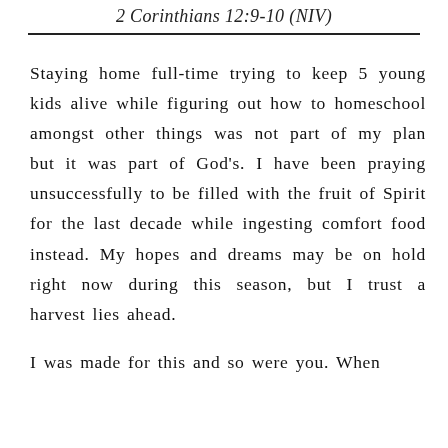2 Corinthians 12:9-10 (NIV)
Staying home full-time trying to keep 5 young kids alive while figuring out how to homeschool amongst other things was not part of my plan but it was part of God's. I have been praying unsuccessfully to be filled with the fruit of Spirit for the last decade while ingesting comfort food instead. My hopes and dreams may be on hold right now during this season, but I trust a harvest lies ahead.
I was made for this and so were you. When